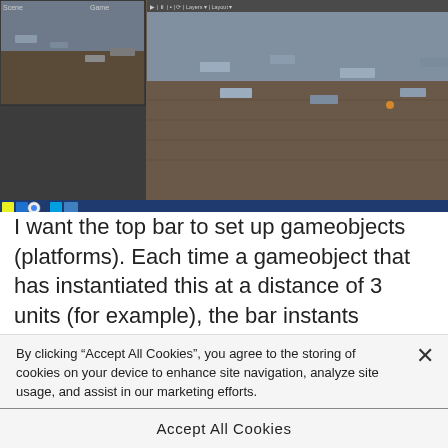[Figure (screenshot): Unity editor screenshot showing a 3D scene with platforms/gameobjects scattered on a dark terrain, with inspector/settings panel on the right side, and a Windows taskbar at the bottom showing browser and application icons.]
I want the top bar to set up gameobjects (platforms). Each time a gameobject that has instantiated this at a distance of 3 units (for example), the bar instants another gameobject, selected at random from a group of gameobjects (GameObject [] platform;), and so on. I know you can get a
By clicking “Accept All Cookies”, you agree to the storing of cookies on your device to enhance site navigation, analyze site usage, and assist in our marketing efforts.
Cookies Settings
Accept All Cookies